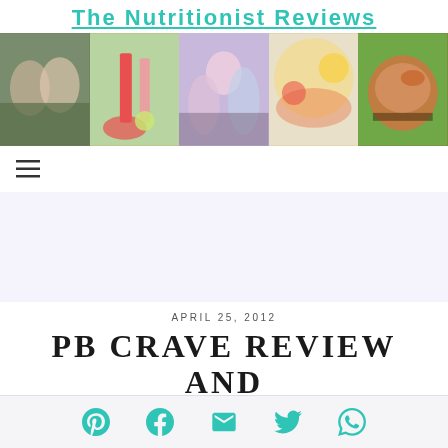The Nutritionist Reviews
[Figure (photo): Banner strip with 5 photos: couple in garden, strawberry drinks, three children, colorful food bowl, dachshund dog]
[Figure (other): Hamburger menu icon (three horizontal lines)]
[Figure (other): Advertisement/blank lavender area]
APRIL 25, 2012
PB CRAVE REVIEW AND GIVEAWAY